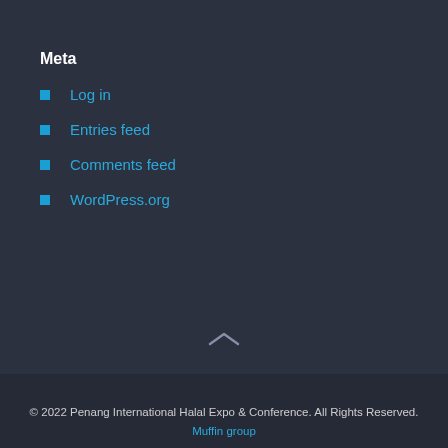Meta
Log in
Entries feed
Comments feed
WordPress.org
© 2022 Penang International Halal Expo & Conference. All Rights Reserved. Muffin group